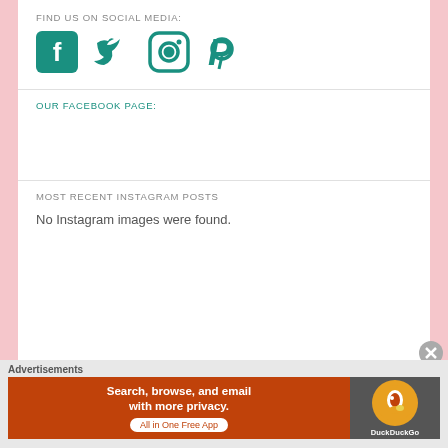FIND US ON SOCIAL MEDIA:
[Figure (illustration): Social media icons: Facebook, Twitter, Instagram, Pinterest in teal color]
OUR FACEBOOK PAGE:
MOST RECENT INSTAGRAM POSTS
No Instagram images were found.
Advertisements
[Figure (screenshot): DuckDuckGo advertisement banner: Search, browse, and email with more privacy. All in One Free App]